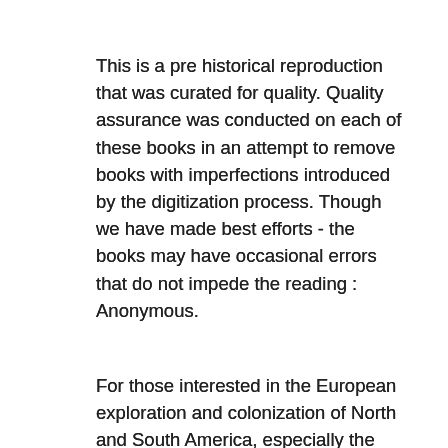This is a pre historical reproduction that was curated for quality. Quality assurance was conducted on each of these books in an attempt to remove books with imperfections introduced by the digitization process. Though we have made best efforts - the books may have occasional errors that do not impede the reading : Anonymous.
For those interested in the European exploration and colonization of North and South America, especially the conquest of Mexico by the Spanish, this is an excellent introduction, or starter book, not only for young readers, but for adults too.5/5(1). Rather than the English term 'conquerors', the Portuguese word (the same as in Spanish) better captures the sense of (misguided) religious mission allied to merciless brutality and mercantile greed which inspired the leaders of Portugal's astonishing burst of imperialist energy in the Indian Ocean in the sixteenth by: 4.
The Spanish Conquerors | This is a reproduction of a book published before This book may have occasional imperfections such as missing or blurred